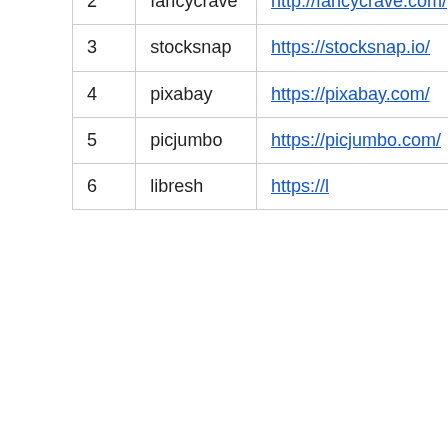|  |  |  |
| --- | --- | --- |
|  |  | / |
| 2 | fancycrave | http://fancycrave.com/ |
| 3 | stocksnap | https://stocksnap.io/ |
| 4 | pixabay | https://pixabay.com/ |
| 5 | picjumbo | https://picjumbo.com/ |
| 6 | libresh | https://l |